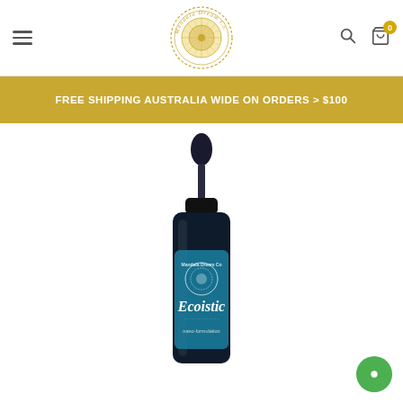Mandala Dream Co – navigation header with hamburger menu, logo, search and cart icons
FREE SHIPPING AUSTRALIA WIDE ON ORDERS > $100
[Figure (photo): A dark glass dropper bottle labeled 'Mandala Dream Co – Ecoistic' with a teal/blue design, sitting on a white background. The bottle has a black rubber-bulb dropper cap.]
[Figure (other): Green circle chat/support bubble icon in bottom right corner]